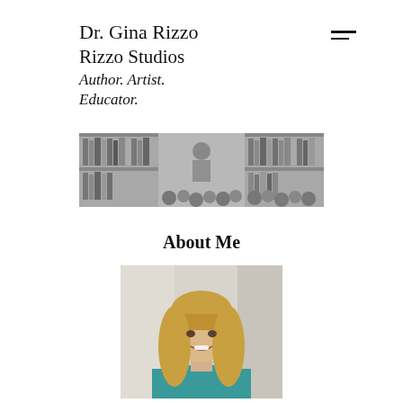Dr. Gina Rizzo
Rizzo Studios
Author. Artist. Educator.
[Figure (photo): Black and white photo of a person reading to a group of children in a library setting with bookshelves in the background]
About Me
[Figure (photo): Portrait photo of a smiling blonde woman wearing a teal top, posed in front of a light background]